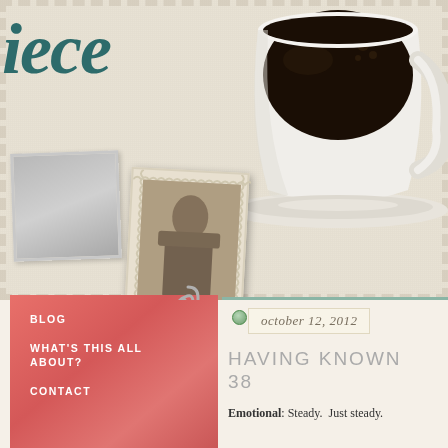[Figure (screenshot): Blog website screenshot showing vintage/scrapbook style design with coffee cup, stamp photos, navigation menu, and blog post excerpt]
iece
[Figure (photo): Overhead photo of black coffee in white cup on saucer]
[Figure (photo): Gray photo placeholder rectangle]
[Figure (photo): Vintage postage stamp style photo of a woman in Victorian dress]
BLOG
WHAT'S THIS ALL ABOUT?
CONTACT
october 12, 2012
HAVING KNOWN 38
Emotional: Steady.  Just steady.
SUBSCRIBE
FACEBOOK